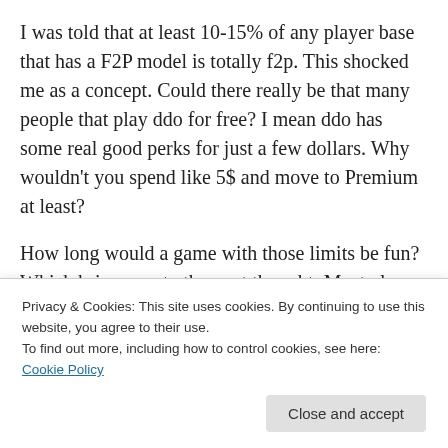I was told that at least 10-15% of any player base that has a F2P model is totally f2p. This shocked me as a concept. Could there really be that many people that play ddo for free? I mean ddo has some real good perks for just a few dollars. Why wouldn't you spend like 5$ and move to Premium at least?
How long would a game with those limits be fun? Which brings me to the next thought: Most players are transient players.
Now I know lots of people that wonder the game spectrum
Privacy & Cookies: This site uses cookies. By continuing to use this website, you agree to their use.
To find out more, including how to control cookies, see here: Cookie Policy